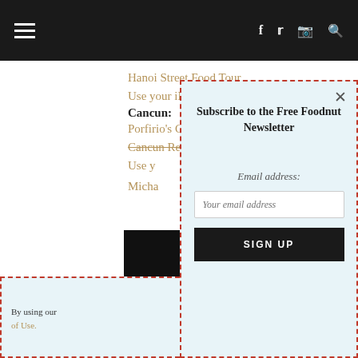≡  f  𝕏  ⬜  🔍
Hanoi Street Food Tour
Use your iPhone in Hong Kong
Cancun:
Porfirio's Cancun
Cancun Restaurant Guide
Use y…
Micha…
[Figure (photo): Black square image placeholder]
Subscribe to the Free Foodnut Newsletter
Email address:
Your email address
SIGN UP
By using our… of Use.